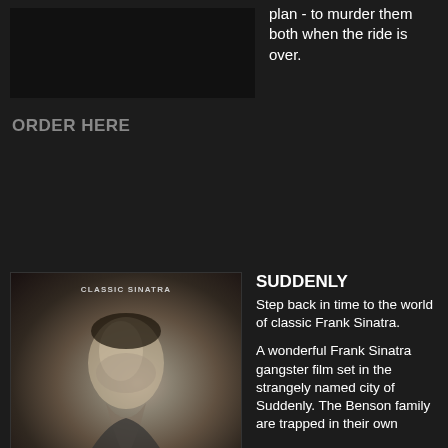[Figure (photo): Dark movie still image at top left]
plan - to murder them both when the ride is over.
ORDER HERE
[Figure (photo): Classic black and white photo of Frank Sinatra with 'CLASSIC SINATRA' label at top]
SUDDENLY
Step back in time to the world of classic Frank Sinatra.
A wonderful Frank Sinatra gangster film set in the strangely named city of Suddenly. The Benson family are trapped in their own